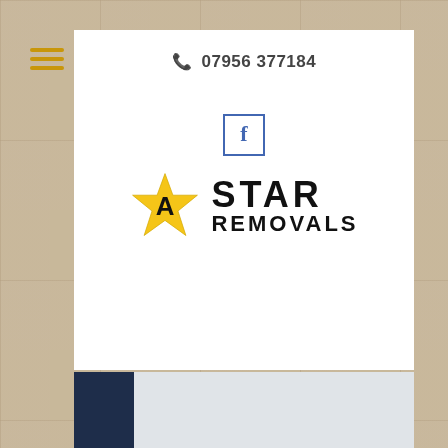[Figure (screenshot): Mobile website screenshot for A Star Removals showing header with phone number 07956 377184, Facebook icon, company logo with star graphic, and a carousel/slideshow section with navigation arrows and dots]
07956 377184
[Figure (logo): A Star Removals logo: golden star icon with letter A, and bold stencil-style text reading STAR REMOVALS]